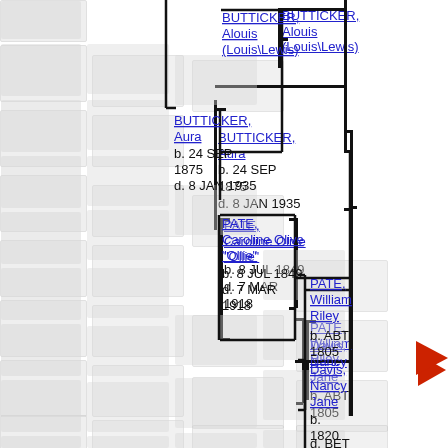[Figure (other): Genealogy/family tree chart showing ancestors. BUTTICKER, Alouis (Louis\Lewis) at top right; BUTTICKER, Aura b. 24 SEP 1875 d. 8 JAN 1935 middle left; PATE, William Riley b. ABT 1805 right middle; PATE, Caroline Olive 'Ollie' b. 8 JUL 1849 d. 7 MAR 1918 center lower; Davis, Nancy Jane b. 1820 d. BET bottom right.]